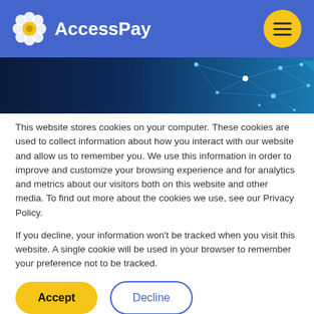AccessPay
[Figure (illustration): Blue technology network banner with glowing nodes and connecting lines on dark blue background]
This website stores cookies on your computer. These cookies are used to collect information about how you interact with our website and allow us to remember you. We use this information in order to improve and customize your browsing experience and for analytics and metrics about our visitors both on this website and other media. To find out more about the cookies we use, see our Privacy Policy.
If you decline, your information won't be tracked when you visit this website. A single cookie will be used in your browser to remember your preference not to be tracked.
Accept
Decline